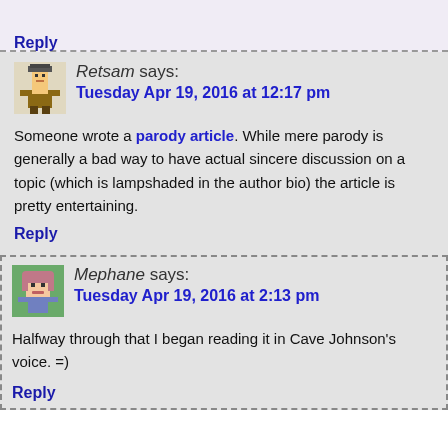Reply
Retsam says: Tuesday Apr 19, 2016 at 12:17 pm
Someone wrote a parody article. While mere parody is generally a bad way to have actual sincere discussion on a topic (which is lampshaded in the author bio) the article is pretty entertaining.
Reply
Mephane says: Tuesday Apr 19, 2016 at 2:13 pm
Halfway through that I began reading it in Cave Johnson's voice. =)
Reply